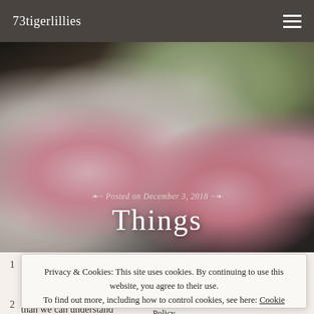73tigerlillies
[Figure (photo): Hero image of a floral arrangement with white daisies, pink roses, and pink alstroemeria flowers against a dark background, with text overlay 'Posted on December 3, 2018' and title 'Things']
Things
Posted on December 3, 2018
1
Privacy & Cookies: This site uses cookies. By continuing to use this website, you agree to their use.
To find out more, including how to control cookies, see here: Cookie Policy
2
than we can understand